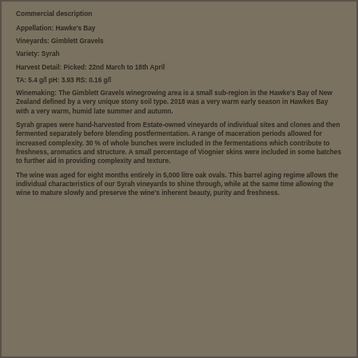Commercial description
Appellation: Hawke's Bay
Vineyards: Gimblett Gravels
Variety: Syrah
Harvest Detail: Picked: 22nd March to 18th April
TA: 5.4 g/l pH: 3.93 RS: 0.16 g/l
Winemaking: The Gimblett Gravels winegrowing area is a small sub-region in the Hawke's Bay of New Zealand defined by a very unique stony soil type. 2018 was a very warm early season in Hawkes Bay with a very warm, humid late summer and autumn.
Syrah grapes were hand-harvested from Estate-owned vineyards of individual sites and clones and then fermented separately before blending postfermentation. A range of maceration periods allowed for increased complexity. 30 % of whole bunches were included in the fermentations which contribute to freshness, aromatics and structure. A small percentage of Viognier skins were included in some batches to further aid in providing complexity and texture.
The wine was aged for eight months entirely in 5,000 litre oak ovals. This barrel aging regime allows the individual characteristics of our Syrah vineyards to shine through, while at the same time allowing the wine to mature slowly and preserve the wine's inherent beauty, purity and freshness.